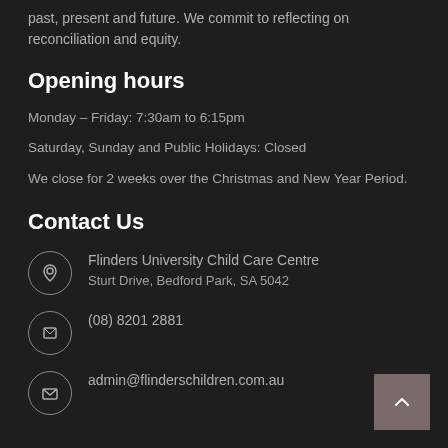past, present and future. We commit to reflecting on reconciliation and equity.
Opening hours
Monday – Friday: 7:30am to 6:15pm
Saturday, Sunday and Public Holidays: Closed
We close for 2 weeks over the Christmas and New Year Period.
Contact Us
Flinders University Child Care Centre
Sturt Drive, Bedford Park, SA 5042
(08) 8201 2881
admin@flinderschildren.com.au